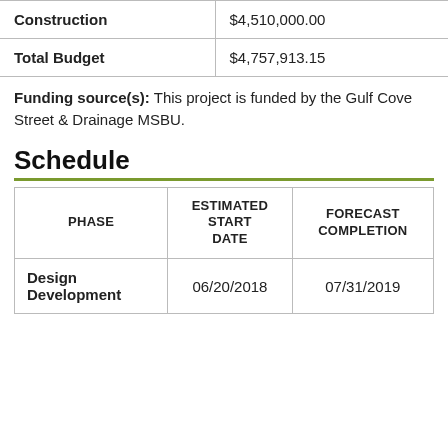|  |  |
| --- | --- |
| Construction | $4,510,000.00 |
| Total Budget | $4,757,913.15 |
Funding source(s): This project is funded by the Gulf Cove Street & Drainage MSBU.
Schedule
| PHASE | ESTIMATED START DATE | FORECAST COMPLETION |
| --- | --- | --- |
| Design Development | 06/20/2018 | 07/31/2019 |